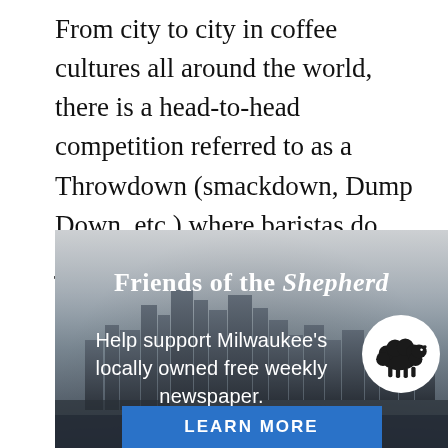From city to city in coffee cultures all around the world, there is a head-to-head competition referred to as a Throwdown (smackdown, Dump Down, etc.) where baristas do just that. Baristas from companies all across the host city gather together pour drinks to see who can make it to the final round and win.
[Figure (illustration): Grayscale aerial photo of Milwaukee city skyline with overlay text reading 'Friends of the Shepherd - Help support Milwaukee's locally owned free weekly newspaper.' with a sheep logo and a blue 'LEARN MORE' button at the bottom.]